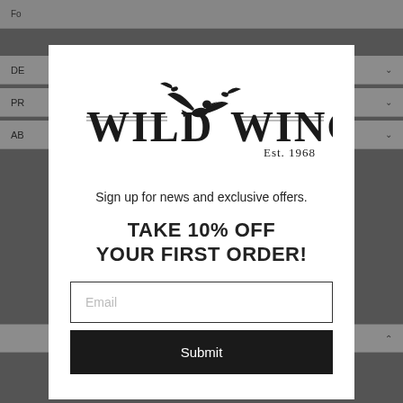[Figure (logo): Wild Wings Est. 1968 logo with flying bird silhouettes]
Sign up for news and exclusive offers.
TAKE 10% OFF YOUR FIRST ORDER!
Email
Submit